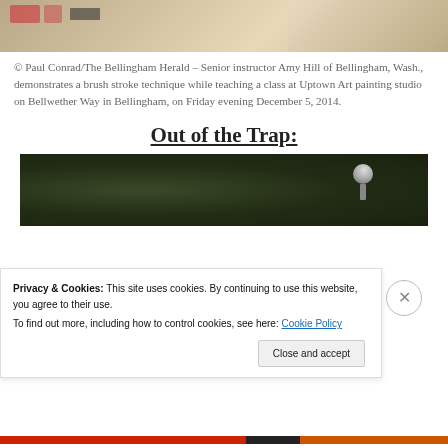[Figure (photo): Top portion of a photo showing an art class scene with someone demonstrating brush stroke technique]
© Paul Conrad/The Bellingham Herald – Senior instructor Amy Hill of Bellingham, Wash., demonstrates a brush stroke technique while teaching a class at Uptown Art painting studio on Bellwether Way in Bellingham, on Friday evening December 5, 2014.
Out of the Trap:
[Figure (photo): Bottom photo showing a dark green/nature background with a metallic circular object visible on the right side]
Privacy & Cookies: This site uses cookies. By continuing to use this website, you agree to their use.
To find out more, including how to control cookies, see here: Cookie Policy
Close and accept